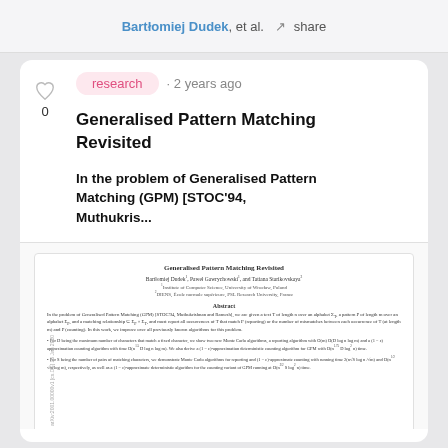Bartłomiej Dudek, et al. · share
research · 2 years ago
Generalised Pattern Matching Revisited
In the problem of Generalised Pattern Matching (GPM) [STOC'94, Muthukris...
[Figure (screenshot): Thumbnail of the paper 'Generalised Pattern Matching Revisited' by Bartłomiej Dudek, Paweł Gawrychowski, and Tatiana Starikovskaya, showing the title, authors, affiliations, abstract, and bullet points of contributions, with a vertical arXiv watermark on the left side.]